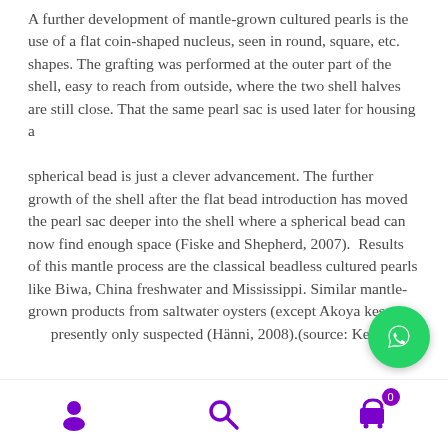A further development of mantle-grown cultured pearls is the use of a flat coin-shaped nucleus, seen in round, square, etc. shapes. The grafting was performed at the outer part of the shell, easy to reach from outside, where the two shell halves are still close. That the same pearl sac is used later for housing a spherical bead is just a clever advancement. The further growth of the shell after the flat bead introduction has moved the pearl sac deeper into the shell where a spherical bead can now find enough space (Fiske and Shepherd, 2007).  Results of this mantle process are the classical beadless cultured pearls like Biwa, China freshwater and Mississippi. Similar mantle-grown products from saltwater oysters (except Akoya keshi) are presently only suspected (Hänni, 2008).(source: Keshi
[Figure (other): WhatsApp floating action button (green circle with phone icon)]
Navigation bar with user icon, search icon, and shopping cart icon with badge 0